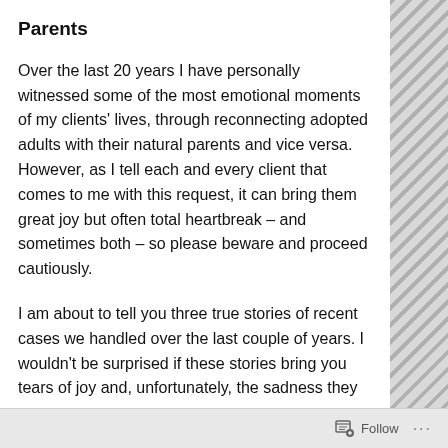Parents
Over the last 20 years I have personally witnessed some of the most emotional moments of my clients' lives, through reconnecting adopted adults with their natural parents and vice versa. However, as I tell each and every client that comes to me with this request, it can bring them great joy but often total heartbreak – and sometimes both – so please beware and proceed cautiously.
I am about to tell you three true stories of recent cases we handled over the last couple of years. I wouldn't be surprised if these stories bring you tears of joy and, unfortunately, the sadness they
Follow ...